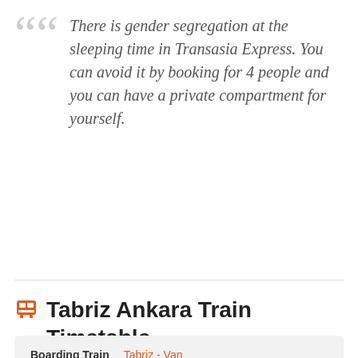There is gender segregation at the sleeping time in Transasia Express. You can avoid it by booking for 4 people and you can have a private compartment for yourself.
Tabriz Ankara Train Timetable
| Boarding Train | Tabriz - Van |
| --- | --- |